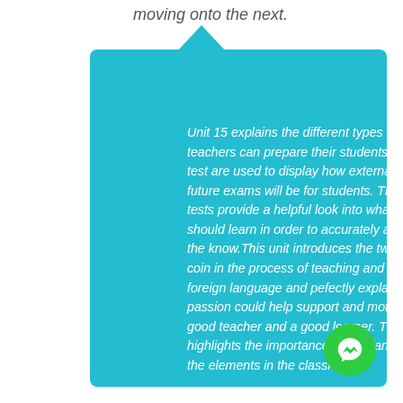moving onto the next.
Unit 15 explains the different types of exams that teachers can prepare their students for. Practice test are used to display how external test or future exams will be for students. The practice tests provide a helpful look into what a student should learn in order to accurately assess what the know.This unit introduces the two sides of the coin in the process of teaching and learning a foreign language and pefectly explains how passion could help support and motivate both a good teacher and a good learner. The unit highlights the importance of a balance among all the elements in the classroom.